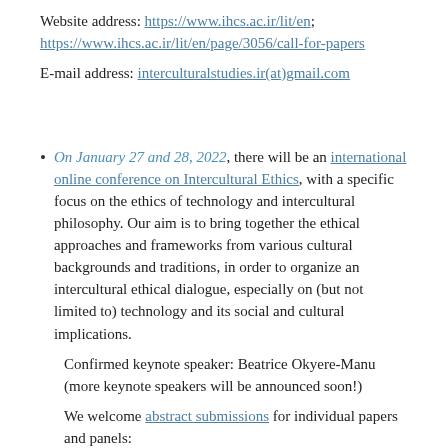Website address: https://www.ihcs.ac.ir/lit/en; https://www.ihcs.ac.ir/lit/en/page/3056/call-for-papers
E-mail address: interculturalstudies.ir(at)gmail.com
On January 27 and 28, 2022, there will be an international online conference on Intercultural Ethics, with a specific focus on the ethics of technology and intercultural philosophy. Our aim is to bring together the ethical approaches and frameworks from various cultural backgrounds and traditions, in order to organize an intercultural ethical dialogue, especially on (but not limited to) technology and its social and cultural implications.
Confirmed keynote speaker: Beatrice Okyere-Manu (more keynote speakers will be announced soon!)
We welcome abstract submissions for individual papers and panels: